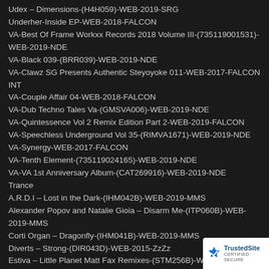Udex – Dimensions-(H4H059)-WEB-2019-SRG
Underher-Inside EP-WEB-2018-FALCON
VA-Best Of Frame Workxx Records 2018 Volume III-(735119001531)-WEB-2019-NDE
VA-Black 039-(BRR039)-WEB-2019-NDE
VA-Clawz SG Presents Authentic Steyoyoke 011-WEB-2017-FALCON INT
VA-Couple Affair 04-WEB-2018-FALCON
VA-Dub Techno Tales Va-(GMSVA006)-WEB-2019-NDE
VA-Quintessence Vol 2 Remix Edition Part 2-WEB-2019-FALCON
VA-Speechless Underground Vol 35-(RIMVA1671)-WEB-2019-NDE
VA-Synergy-WEB-2017-FALCON
VA-Tenth Element-(735119024165)-WEB-2019-NDE
VA-VA 1st Anniversary Album-(CAT269916)-WEB-2019-NDE
Trance
A.R.D.I – Lost in the Dark-(IHM042B)-WEB-2019-MMS
Alexander Popov and Natalie Gioia – Disarm Me-(ITP060B)-WEB-2019-MMS
Corti Organ – Dragonfly-(IHM041B)-WEB-2019-MMS
Diverts – Strong-(DIR043D)-WEB-2015-ZzZz
Estiva – Little Planet Matt Fax Remixes-(STM256B)-WEB-2019-MMS
Fast Distance – Odin and Divine-(ASOT525B)-WEB-2019-M...